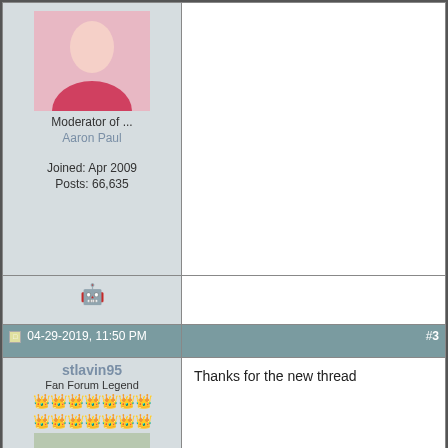[Figure (photo): User avatar photo of a woman in a pink tank top]
Moderator of ...
Aaron Paul

Joined: Apr 2009
Posts: 66,635
[Figure (other): Smiley face robot emoji icon]
04-29-2019, 11:50 PM
#3
stlavin95
Fan Forum Legend
[Figure (photo): User avatar photo of a woman with auburn hair smiling]
Moderator of ...
One Tree Hill
Sophia Bush
Hilarie Burton

Joined: Aug 2016
Posts: 542,340
Thanks for the new thread